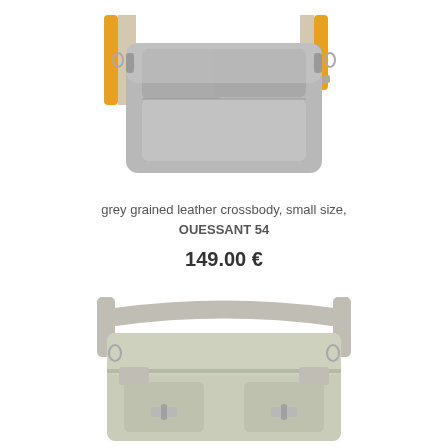[Figure (photo): Grey grained leather crossbody bag with orange and beige strap, small size, photographed from front on white background]
grey grained leather crossbody, small size, OUESSANT 54
149.00 €
[Figure (photo): Light green/sage canvas crossbody bag with silver/metallic leather trim and straps, photographed from front on white background]